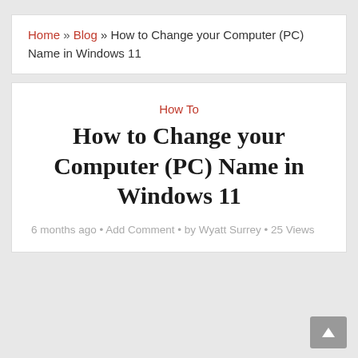Home » Blog » How to Change your Computer (PC) Name in Windows 11
How To
How to Change your Computer (PC) Name in Windows 11
6 months ago • Add Comment • by Wyatt Surrey • 25 Views